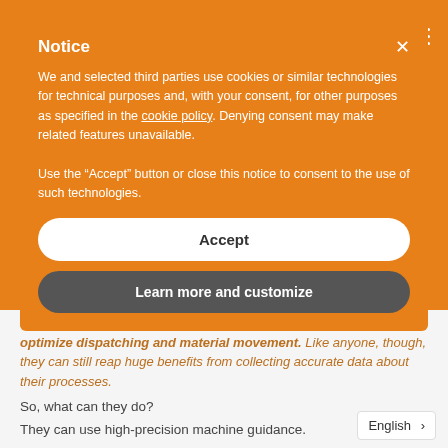Wenco (logo, navigation header)
Notice
We and selected third parties use cookies or similar technologies for technical purposes and, with your consent, for other purposes as specified in the cookie policy. Denying consent may make related features unavailable.
Use the “Accept” button or close this notice to consent to the use of such technologies.
Accept
Learn more and customize
Many mine contractors don’t see the value of an FMS built to optimize dispatching and material movement. Like anyone, though, they can still reap huge benefits from collecting accurate data about their processes.
So, what can they do?
They can use high-precision machine guidance.
How machine guidance